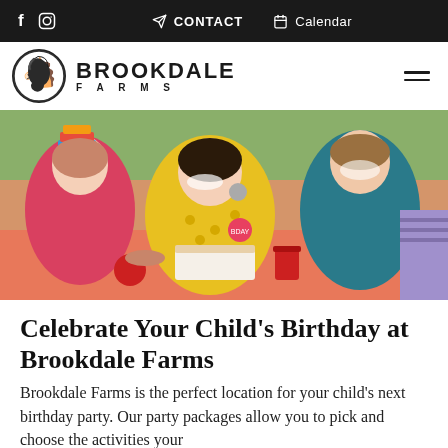f  [instagram]  CONTACT  Calendar
[Figure (logo): Brookdale Farms logo with horse head in circle and text BROOKDALE FARMS]
[Figure (photo): Three children with frosting on their faces eating birthday cake together at an outdoor party table]
Celebrate Your Child's Birthday at Brookdale Farms
Brookdale Farms is the perfect location for your child's next birthday party. Our party packages allow you to pick and choose the activities your